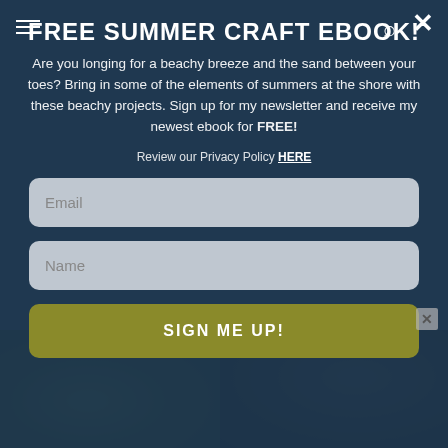[Figure (screenshot): Background showing a dark teal/navy modal overlay over a blurred outdoor photo. Bottom portion shows a dark nature photo split into two halves.]
FREE SUMMER CRAFT EBOOK!
Are you longing for a beachy breeze and the sand between your toes? Bring in some of the elements of summers at the shore with these beachy projects. Sign up for my newsletter and receive my newest ebook for FREE!
Review our Privacy Policy HERE